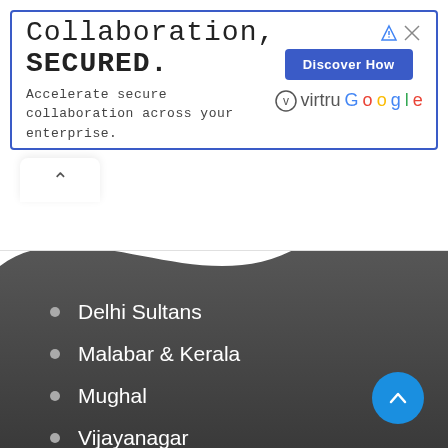[Figure (infographic): Advertisement banner: 'Collaboration, SECURED.' with tagline 'Accelerate secure collaboration across your enterprise.' and Virtru/Google branding with 'Discover How' button.]
Delhi Sultans
Malabar & Kerala
Mughal
Vijayanagar